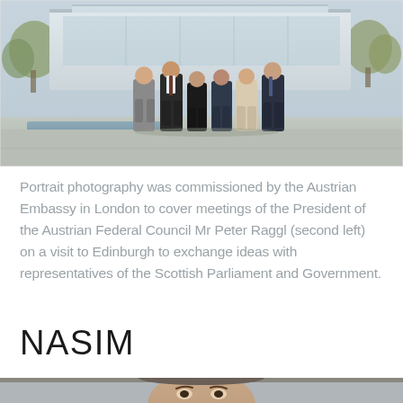[Figure (photo): Group portrait of six people standing outdoors in front of a modern building with a water feature, trees in background, overcast sky. Formal attire.]
Portrait photography was commissioned by the Austrian Embassy in London to cover meetings of the President of the Austrian Federal Council Mr Peter Raggl (second left) on a visit to Edinburgh to exchange ideas with representatives of the Scottish Parliament and Government.
NASIM
[Figure (photo): Close-up portrait photo, partially visible at bottom of page, showing a person's face.]